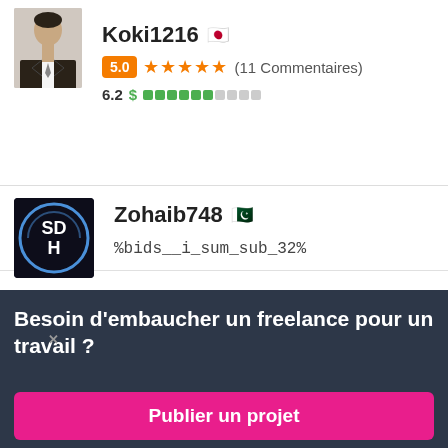[Figure (screenshot): User profile card for Koki1216 with Japanese flag, 5.0 star rating badge, 11 comments, and rate bar showing 6.2 with dollar sign and colored segments]
Koki1216 🇯🇵 5.0 ★★★★★ (11 Commentaires) 6.2 $
[Figure (screenshot): User profile card for Zohaib748 with Pakistani flag and SDH logo avatar, showing %bids__i_sum_sub_32% text]
Zohaib748 🇵🇰 %bids__i_sum_sub_32%
Besoin d'embaucher un freelance pour un travail ?
Publier un projet